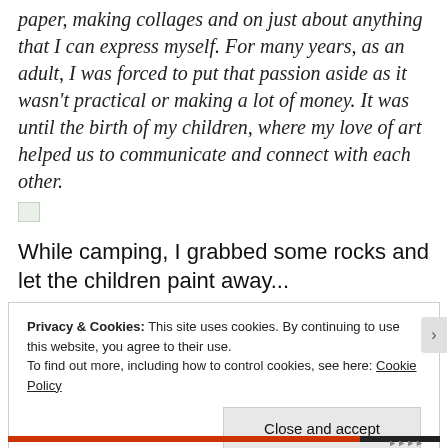paper, making collages and on just about anything that I can express myself. For many years, as an adult, I was forced to put that passion aside as it wasn't practical or making a lot of money. It was until the birth of my children, where my love of art helped us to communicate and connect with each other.
[Figure (photo): Broken/missing image placeholder icon]
While camping, I grabbed some rocks and let the children paint away...
Privacy & Cookies: This site uses cookies. By continuing to use this website, you agree to their use.
To find out more, including how to control cookies, see here: Cookie Policy